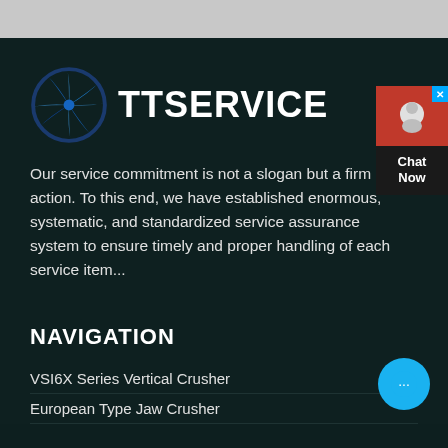[Figure (logo): TTService logo with circular blue gear/windmill icon and bold white text TTSERVICE]
Our service commitment is not a slogan but a firm action. To this end, we have established enormous, systematic, and standardized service assurance system to ensure timely and proper handling of each service item...
NAVIGATION
VSI6X Series Vertical Crusher
European Type Jaw Crusher